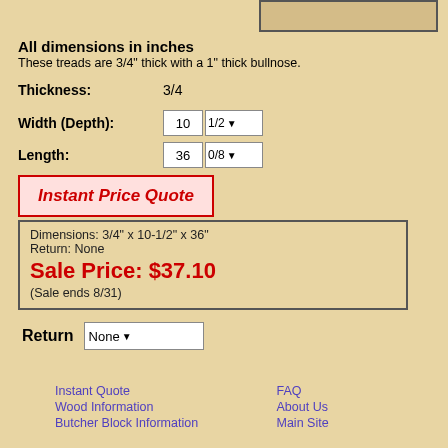[Figure (other): A rectangular input/display box at top right, partially visible]
All dimensions in inches
These treads are 3/4" thick with a 1" thick bullnose.
Thickness: 3/4
Width (Depth): 10 1/2
Length: 36 0/8
Instant Price Quote
Dimensions: 3/4" x 10-1/2" x 36"
Return: None
Sale Price: $37.10
(Sale ends 8/31)
Return None
Instant Quote  FAQ  Wood Information  About Us  Butcher Block Information  Main Site